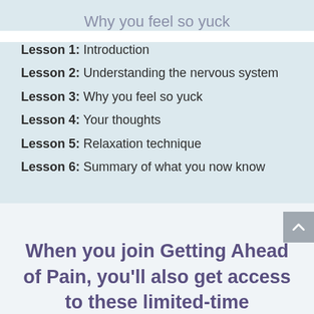Why you feel so yuck
Lesson 1: Introduction
Lesson 2: Understanding the nervous system
Lesson 3: Why you feel so yuck
Lesson 4: Your thoughts
Lesson 5: Relaxation technique
Lesson 6: Summary of what you now know
When you join Getting Ahead of Pain, you'll also get access to these limited-time bonuses: